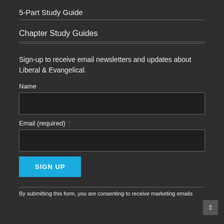5-Part Study Guide
Chapter Study Guides
Sign-up to receive email newsletters and updates about Liberal & Evangelical.
Name
Email (required) *
SIGN UP
By submitting this form, you are consenting to receive marketing emails